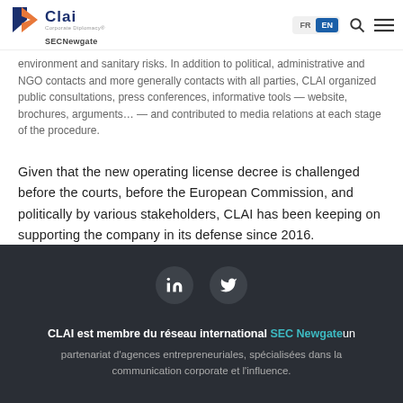CLAI Corporate Diplomacy / SECNewgate — Navigation bar with FR/EN language toggle, search, and menu
environment and sanitary risks. In addition to political, administrative and NGO contacts and more generally contacts with all parties, CLAI organized public consultations, press conferences, informative tools — website, brochures, arguments… — and contributed to media relations at each stage of the procedure.
Given that the new operating license decree is challenged before the courts, before the European Commission, and politically by various stakeholders, CLAI has been keeping on supporting the company in its defense since 2016.
CLAI est membre du réseau international SEC Newgate un partenariat d'agences entrepreneuriales, spécialisées dans la communication corporate et l'influence.